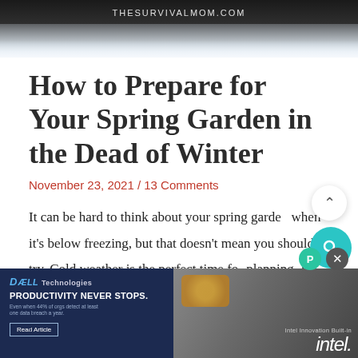[Figure (photo): Snow-covered landscape with dark background, thesurvivalmom.com watermark at top]
How to Prepare for Your Spring Garden in the Dead of Winter
November 23, 2021 / 13 Comments
It can be hard to think about your spring garden when it's below freezing, but that doesn't mean you shouldn't try. Cold weather is the perfect time for planning. It's also the perfect time to assess challen... ...lear
[Figure (screenshot): Dell Technologies advertisement overlay: PRODUCTIVITY NEVER STOPS. Even when 44% of orgs detect at least one data breach a year. Read Article. Intel Innovation Built-in intel.]